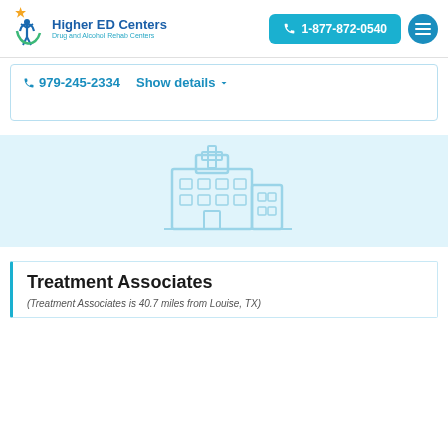Higher ED Centers | Drug and Alcohol Rehab Centers | 1-877-872-0540
979-245-2334   Show details
[Figure (illustration): Light blue hospital/medical building icon on light blue background]
Treatment Associates
(Treatment Associates is 40.7 miles from Louise, TX)